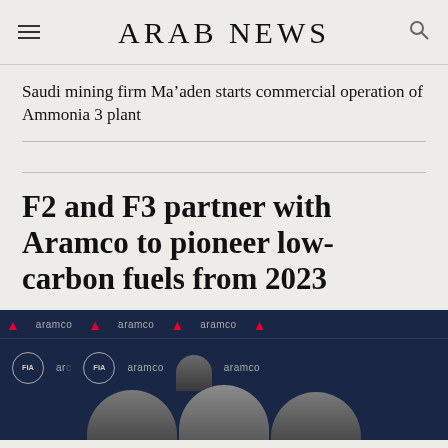ARAB NEWS
Saudi mining firm Ma’aden starts commercial operation of Ammonia 3 plant
F2 and F3 partner with Aramco to pioneer low-carbon fuels from 2023
[Figure (photo): Press conference with three men standing in front of a dark blue branded backdrop showing Aramco and F1 logos, with FIA circular badges visible]